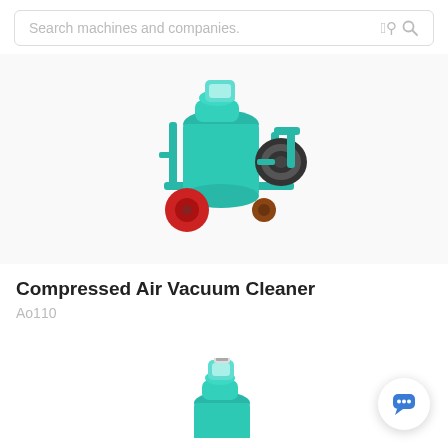Search machines and companies.
[Figure (photo): A teal/turquoise compressed air vacuum cleaner machine on a wheeled cart with a black hose coil and red wheels, motor on top]
Compressed Air Vacuum Cleaner
Ao110
[Figure (photo): Partial view of another teal compressed air vacuum cleaner machine, showing the top motor/head unit, partially cropped at the bottom of the page]